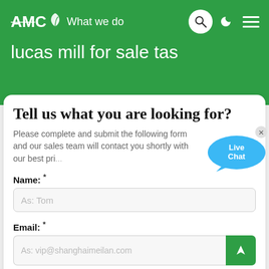AMC What we do
lucas mill for sale tas
Tell us what you are looking for?
Please complete and submit the following form and our sales team will contact you shortly with our best pri...
Name: *
As: Tom
Email: *
As: vip@shanghaimeilan.com
Phone: *
With Country Code
The Location of the Project: